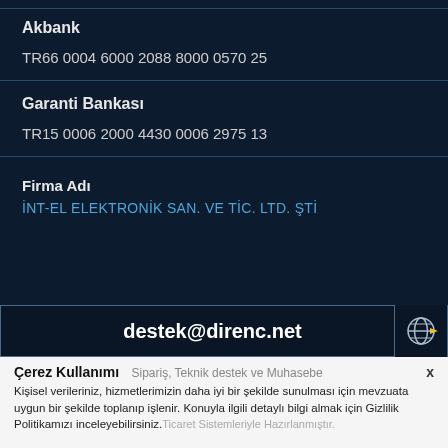Akbank
TR66 0004 6000 2088 8000 0570 25
Garanti Bankası
TR15 0006 2000 4430 0006 2975 13
Firma Adı
İNT-EL ELEKTRONİK SAN. VE TİC. LTD. ŞTİ
destek@direnc.net
Çerez Kullanımı
Sipariş, Teknik destek ve Muhasebe
Kişisel verileriniz, hizmetlerimizin daha iyi bir şekilde sunulması için mevzuata uygun bir şekilde toplanıp işlenir. Konuyla ilgili detaylı bilgi almak için Gizlilik Politikamızı inceleyebilirsiniz.